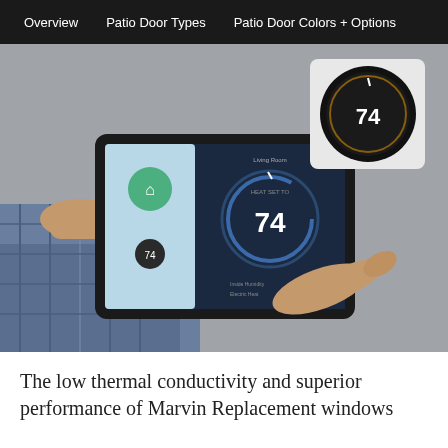Overview    Patio Door Types    Patio Door Colors + Options
[Figure (photo): Person holding a tablet showing a smart thermostat app displaying temperature 74, with a Nest thermostat on the wall in the background also showing 74]
The low thermal conductivity and superior performance of Marvin Replacement windows